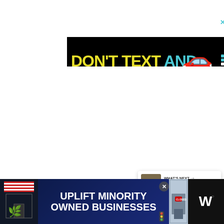[Figure (infographic): NHTSA 'Don't Text and Drive' advertisement banner on black background with yellow 'DON'T TEXT' text, teal 'AND' text, red car emoji, ad badge, and NHTSA logo]
[Figure (infographic): Circular blue favorite/heart button (FAB)]
[Figure (infographic): Circular white share button (FAB) with share icon]
[Figure (infographic): What's Next card showing thumbnail image and text: 'Most Reliable & Best Fauc...']
[Figure (infographic): Bottom banner advertisement: 'UPLIFT MINORITY OWNED BUSINESSES' with striped storefront imagery on dark blue background. Close button and weathermark logo on right.]